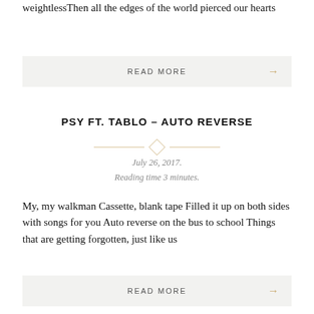weightlessThen all the edges of the world pierced our hearts
READ MORE →
PSY FT. TABLO – AUTO REVERSE
July 26, 2017.
Reading time 3 minutes.
My, my walkman Cassette, blank tape Filled it up on both sides with songs for you Auto reverse on the bus to school Things that are getting forgotten, just like us
READ MORE →